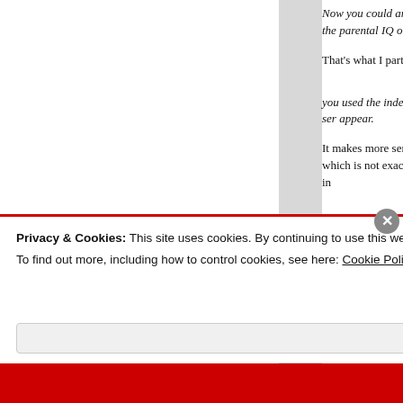Now you could argue school early, but the parental IQ on one's
That's what I partly characteristics.
you used the independently which makes no sense appear.
It makes more sense measure of children which is not exactly expected to stay in
Privacy & Cookies: This site uses cookies. By continuing to use this website, you agree to their use.
To find out more, including how to control cookies, see here: Cookie Policy
Close and accept